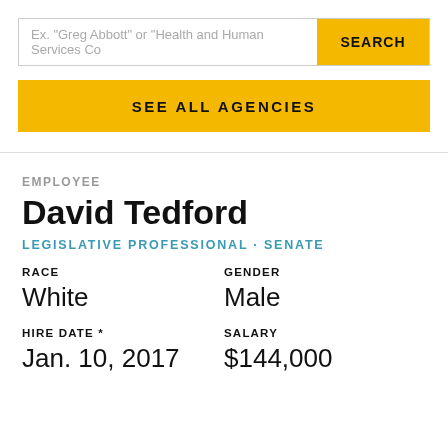Ex. "Greg Abbott" or "Health and Human Services Co
SEARCH
SEE ALL AGENCIES
EMPLOYEE
David Tedford
LEGISLATIVE PROFESSIONAL · SENATE
| RACE | GENDER |
| --- | --- |
| White | Male |
| HIRE DATE * | SALARY |
| --- | --- |
| Jan. 10, 2017 | $144,000 |